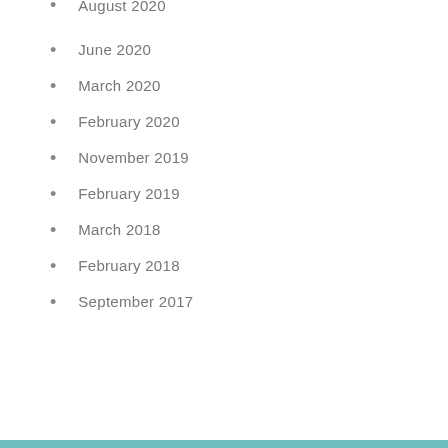August 2020
June 2020
March 2020
February 2020
November 2019
February 2019
March 2018
February 2018
September 2017